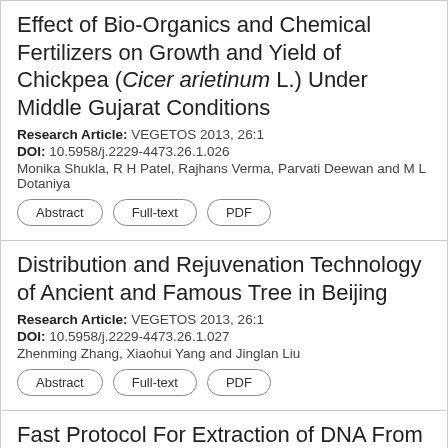Effect of Bio-Organics and Chemical Fertilizers on Growth and Yield of Chickpea (Cicer arietinum L.) Under Middle Gujarat Conditions
Research Article: VEGETOS 2013, 26:1
DOI: 10.5958/j.2229-4473.26.1.026
Monika Shukla, R H Patel, Rajhans Verma, Parvati Deewan and M L Dotaniya
Abstract | Full-text | PDF
Distribution and Rejuvenation Technology of Ancient and Famous Tree in Beijing
Research Article: VEGETOS 2013, 26:1
DOI: 10.5958/j.2229-4473.26.1.027
Zhenming Zhang, Xiaohui Yang and Jinglan Liu
Abstract | Full-text | PDF
Fast Protocol For Extraction of DNA From Arid Adapted Prosopis Leaves Without Liquid Nitrogen
Research Article: VEGETOS 2013, 26:1